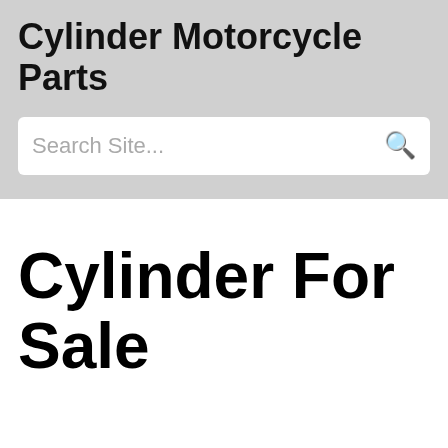Cylinder Motorcycle Parts
Search Site...
Cylinder For Sale